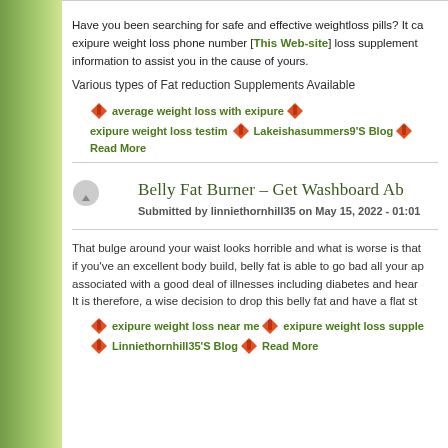Have you been searching for safe and effective weightloss pills? It ca exipure weight loss phone number [This Web-site] loss supplement information to assist you in the cause of yours.
Various types of Fat reduction Supplements Available
average weight loss with exipure   exipure weight loss testim Lakeishasummers9'S Blog   Read More
Belly Fat Burner – Get Washboard Ab
Submitted by linniethornhill35 on May 15, 2022 - 01:01
That bulge around your waist looks horrible and what is worse is that if you've an excellent body build, belly fat is able to go bad all your ap associated with a good deal of illnesses including diabetes and hear It is therefore, a wise decision to drop this belly fat and have a flat st
exipure weight loss near me   exipure weight loss supple Linniethornhill35'S Blog   Read More